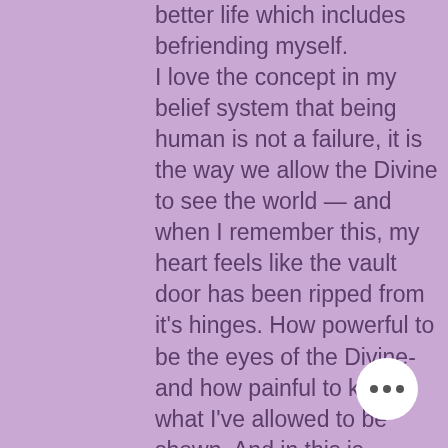better life which includes befriending myself. I love the concept in my belief system that being human is not a failure, it is the way we allow the Divine to see the world — and when I remember this, my heart feels like the vault door has been ripped from it's hinges. How powerful to be the eyes of the Divine- and how painful to know what I've allowed to be shown. And in this is another baptism, a new beginning for me to Remember Myself. I love the idea that humans are angels in life— angels are not mysterious, they have never been to me, I've met them everyday. And if I'm present I remember them and recognize their teachings. Being lifted up by angels- I see with a new sense, I hear with the ear of my